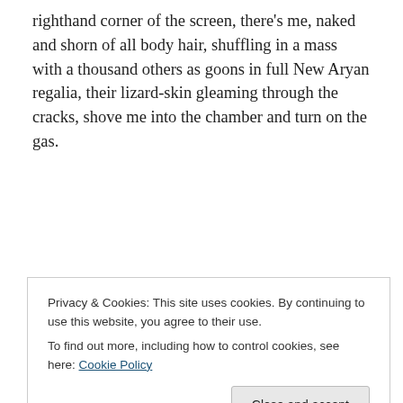righthand corner of the screen, there's me, naked and shorn of all body hair, shuffling in a mass with a thousand others as goons in full New Aryan regalia, their lizard-skin gleaming through the cracks, shove me into the chamber and turn on the gas.
I bloat and slump over, and even in my seat, watching on this side of the screen, I find myself short of breath. I gag and shudder and only manage to stave off convulsions by slamming my laptop shut.
Privacy & Cookies: This site uses cookies. By continuing to use this website, you agree to their use.
To find out more, including how to control cookies, see here: Cookie Policy
Close and accept
I SPEND THE FIVE LONGEST MINUTES OF MY LIFE